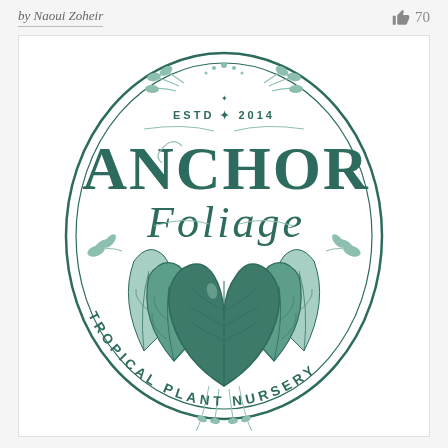by Naoui Zoheir   👍 70
[Figure (logo): Anchor Foliage Tropical Plant Nursery logo. An oval badge design with two concentric oval borders in dark teal/green. At the top inside: 'ESTD ✦ 2014' in small caps. Large decorative serif text 'ANCHOR' on top line and 'FOLIAGE' below it, both in dark teal. Botanical leaf and floral decorations surround the text. At the bottom, curved text reads 'TROPICAL PLANT NURSERY' following the oval border. The center features detailed illustrated tropical leaves (philodendron/anthurium style) in shades of green.]